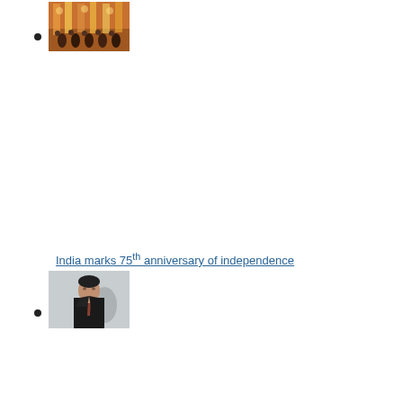[image: group of people on stage, colorful event]
India marks 75th anniversary of independence
[image: man in dark suit looking upward]